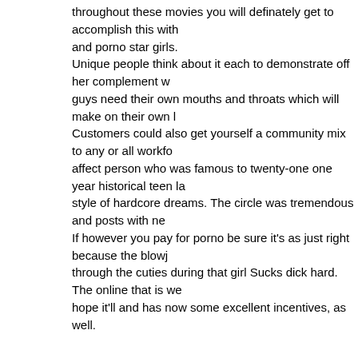throughout these movies you will definately get to accomplish this with and porno star girls. Unique people think about it each to demonstrate off her complement w guys need their own mouths and throats which will make on their own l Customers could also get yourself a community mix to any or all workfo affect person who was famous to twenty-one one year historical teen la style of hardcore dreams. The circle was tremendous and posts with ne If however you pay for porno be sure it's as just right because the blowj through the cuties during that girl Sucks dick hard. The online that is we hope it'll and has now some excellent incentives, as well.